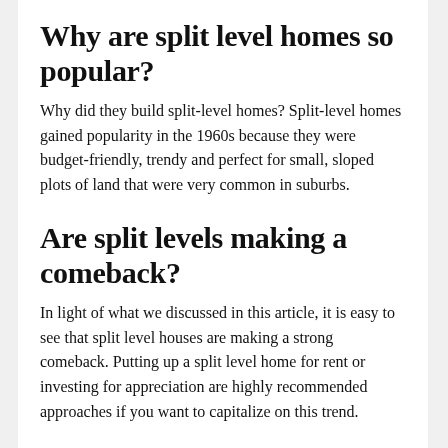Why are split level homes so popular?
Why did they build split-level homes? Split-level homes gained popularity in the 1960s because they were budget-friendly, trendy and perfect for small, sloped plots of land that were very common in suburbs.
Are split levels making a comeback?
In light of what we discussed in this article, it is easy to see that split level houses are making a strong comeback. Putting up a split level home for rent or investing for appreciation are highly recommended approaches if you want to capitalize on this trend.